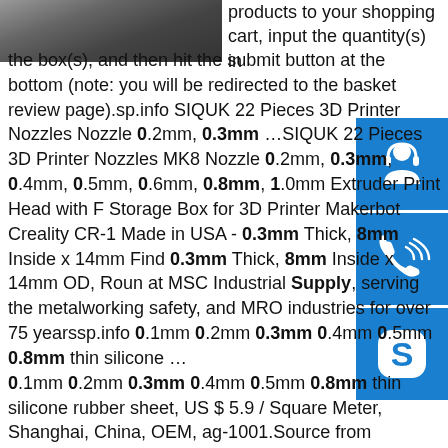[Figure (photo): Partial photo of an object, cropped at top-left corner]
products to your shopping cart, input the quantity(s) in the box(s), and then hit the submit button at the bottom (note: you will be redirected to the basket review page).sp.info SIQUK 22 Pieces 3D Printer Nozzles Nozzle 0.2mm, 0.3mm …SIQUK 22 Pieces 3D Printer Nozzles MK8 Nozzle 0.2mm, 0.3mm, 0.4mm, 0.5mm, 0.6mm, 0.8mm, 1.0mm Extruder Print Head with F Storage Box for 3D Printer Makerbot Creality CR-1 Made in USA - 0.3mm Thick, 8mm Inside x 14mm Find 0.3mm Thick, 8mm Inside x 14mm OD, Roun at MSC Industrial Supply, serving the metalworking safety, and MRO industries for over 75 yearssp.info 0.1mm 0.2mm 0.3mm 0.4mm 0.5mm 0.8mm thin silicone … 0.1mm 0.2mm 0.3mm 0.4mm 0.5mm 0.8mm thin silicone rubber sheet, US $ 5.9 / Square Meter, Shanghai, China, OEM, ag-1001.Source from Shanghai Runzi Rubber And Plastic ...
[Figure (infographic): Blue sidebar icons: headset/customer service icon, phone/call icon, Skype icon]